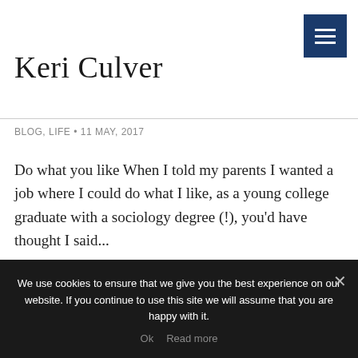Keri Culver
BLOG, LIFE • 11 MAY, 2017
Do what you like When I told my parents I wanted a job where I could do what I like, as a young college graduate with a sociology degree (!), you'd have thought I said...
READ ON... →
We use cookies to ensure that we give you the best experience on our website. If you continue to use this site we will assume that you are happy with it.
Ok   Read more